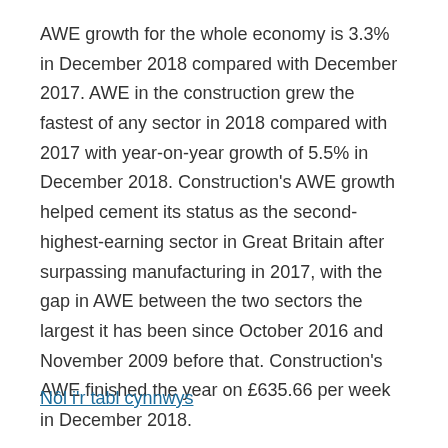AWE growth for the whole economy is 3.3% in December 2018 compared with December 2017. AWE in the construction grew the fastest of any sector in 2018 compared with 2017 with year-on-year growth of 5.5% in December 2018. Construction's AWE growth helped cement its status as the second-highest-earning sector in Great Britain after surpassing manufacturing in 2017, with the gap in AWE between the two sectors the largest it has been since October 2016 and November 2009 before that. Construction's AWE finished the year on £635.66 per week in December 2018.
Nôl i'r tabl cynnwys